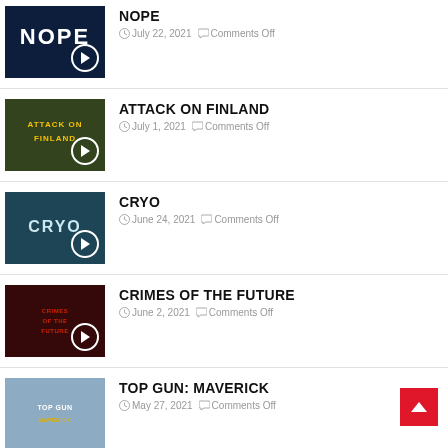NOPE — July 22, 2021 — Comments Off
ATTACK ON FINLAND — July 1, 2021 — Comments Off
CRYO — June 24, 2021 — Comments Off
CRIMES OF THE FUTURE — June 2, 2021 — Comments Off
TOP GUN: MAVERICK — May 27, 2021 — Comments Off